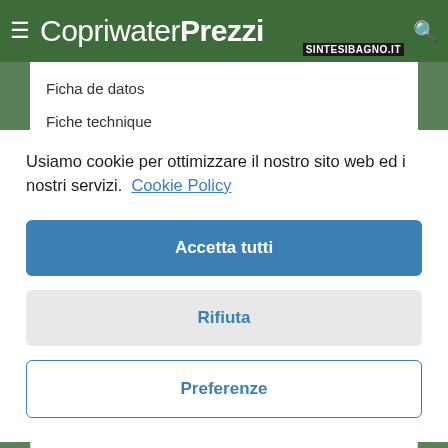CopriwaterPrezzi SINTESIBAGNO.IT
Ficha de datos
Fiche technique
Usiamo cookie per ottimizzare il nostro sito web ed i nostri servizi.  Cookie Policy
Accetta tutti
Rifiuta
Preferenze
WC-Sitze Catalano